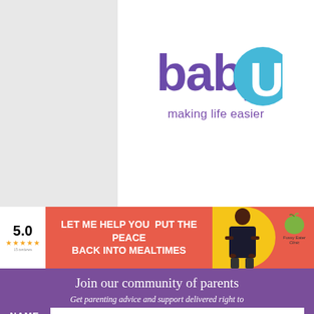[Figure (logo): BabyU logo with purple text 'babyU' and blue circle, tagline 'making life easier' in purple]
[Figure (infographic): Advertisement banner: red/coral background, rating 5.0 stars, text 'LET ME HELP YOU PUT THE PEACE BACK INTO MEALTIMES', woman photo, apple graphic with 'Fussy Eater' label]
Join our community of parents
Get parenting advice and support delivered right to your inbox
NAME